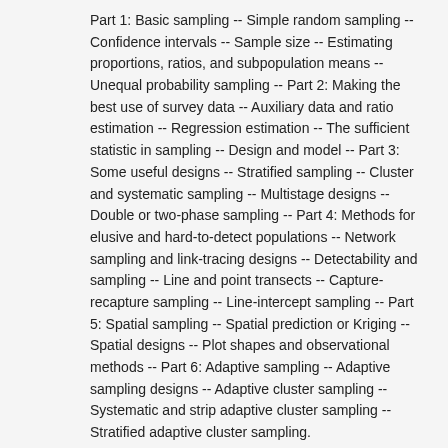Part 1: Basic sampling -- Simple random sampling -- Confidence intervals -- Sample size -- Estimating proportions, ratios, and subpopulation means -- Unequal probability sampling -- Part 2: Making the best use of survey data -- Auxiliary data and ratio estimation -- Regression estimation -- The sufficient statistic in sampling -- Design and model -- Part 3: Some useful designs -- Stratified sampling -- Cluster and systematic sampling -- Multistage designs -- Double or two-phase sampling -- Part 4: Methods for elusive and hard-to-detect populations -- Network sampling and link-tracing designs -- Detectability and sampling -- Line and point transects -- Capture-recapture sampling -- Line-intercept sampling -- Part 5: Spatial sampling -- Spatial prediction or Kriging -- Spatial designs -- Plot shapes and observational methods -- Part 6: Adaptive sampling -- Adaptive sampling designs -- Adaptive cluster sampling -- Systematic and strip adaptive cluster sampling -- Stratified adaptive cluster sampling.
Summary: "Sampling provides an up-to-date treatment of both classical and modern sampling design and estimation methods, along with sampling methods for rare, clustered, and hard-to-detect populations ... Organized into six sections, the book covers basic sampling, from simple random to unequal probability sampling; the use of auxiliary data with ratio and regression estimation; sufficient data, model, and design in practical sampling; useful designs such as stratified, cluster and systematic, multistage, double and network sampling; detectability methods for elusive populations; spatial